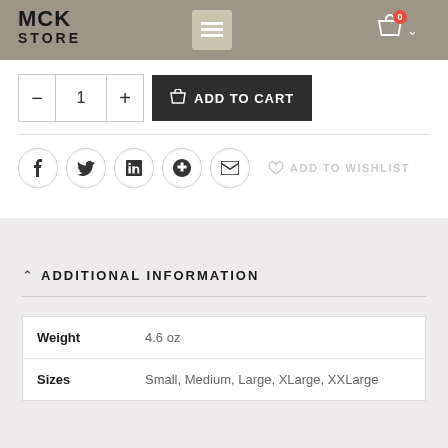MCK STORE
− 1 + ADD TO CART
f  in  G+  ✉  ADD TO WISHLIST
ADDITIONAL INFORMATION
|  |  |
| --- | --- |
| Weight | 4.6 oz |
| Sizes | Small, Medium, Large, XLarge, XXLarge |